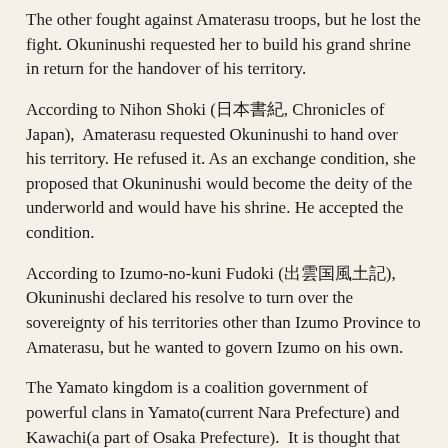The other fought against Amaterasu troops, but he lost the fight. Okuninushi requested her to build his grand shrine in return for the handover of his territory.
According to Nihon Shoki (日本書紀, Chronicles of Japan), Amaterasu requested Okuninushi to hand over his territory. He refused it. As an exchange condition, she proposed that Okuninushi would become the deity of the underworld and would have his shrine. He accepted the condition.
According to Izumo-no-kuni Fudoki (出雲国風土記), Okuninushi declared his resolve to turn over the sovereignty of his territories other than Izumo Province to Amaterasu, but he wanted to govern Izumo on his own.
The Yamato kingdom is a coalition government of powerful clans in Yamato(current Nara Prefecture) and Kawachi(a part of Osaka Prefecture).  It is thought that the kingdom was established by the late third century.    Headmen of the kingdom are regarded as the ancestors of the present-day Imperial Family.
Amaterasu is the female deity of the sun. Emperor Tenmu (天武天